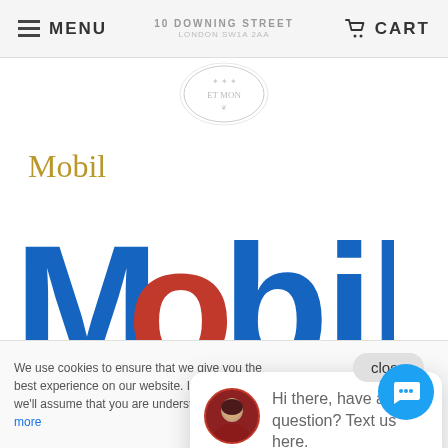MENU   10 DOWNING STREET LONDON SW1A 2AA   CART
[Figure (logo): Coat of arms / heraldic emblem logo in grayscale]
Mobil
[Figure (logo): Mobil logo: blue letters M-b-i-l with red circular O, partially cropped]
Merr...
[Figure (screenshot): Chat popup with avatar and text: Hi there, have a question? Text us here. With close button above.]
We use cookies to ensure that we give you the best experience on our website. If you continue we'll assume that you are understand this. Learn more